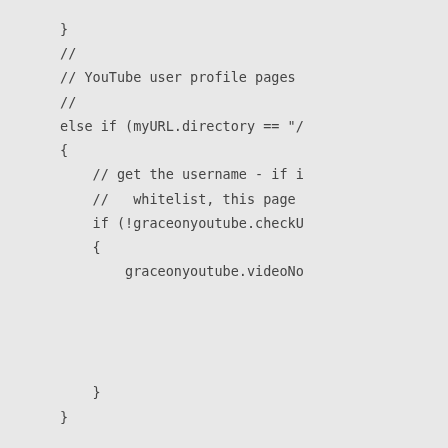}
//
// YouTube user profile pages
//
else if (myURL.directory == "/
{
    // get the username - if i
    //   whitelist, this page
    if (!graceonyoutube.checkU
    {
        graceonyoutube.videoNo



    }
}